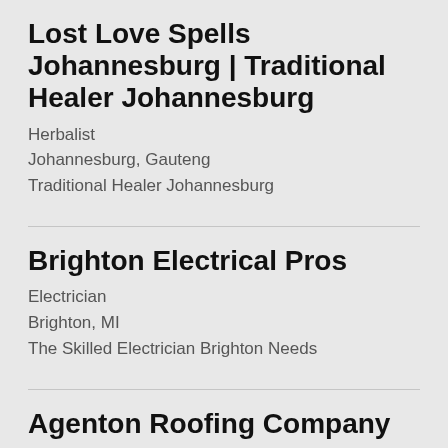Lost Love Spells Johannesburg | Traditional Healer Johannesburg
Herbalist
Johannesburg, Gauteng
Traditional Healer Johannesburg
Brighton Electrical Pros
Electrician
Brighton, MI
The Skilled Electrician Brighton Needs
Agenton Roofing Company